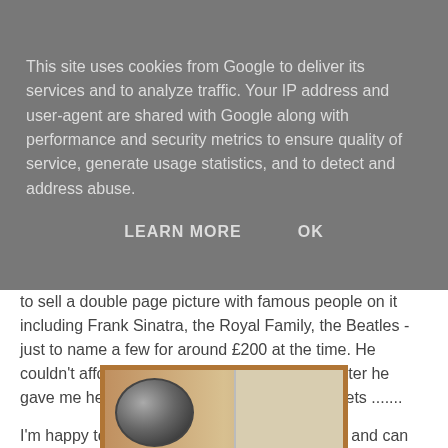This site uses cookies from Google to deliver its services and to analyze traffic. Your IP address and user-agent are shared with Google along with performance and security metrics to ensure quality of service, generate usage statistics, and to detect and address abuse.
LEARN MORE   OK
to sell a double page picture with famous people on it including Frank Sinatra, the Royal Family, the Beatles - just to name a few for around £200 at the time. He couldn't afford this and on the bottom of the letter he gave me he said it was one of his biggest regrets .......
I'm happy to have stumbled on your web page and can finally share the story with someone
[Figure (photo): A photo in a wooden frame showing what appears to be a partial view of a circular/oval object, possibly a decorative plate or record, against a light background.]